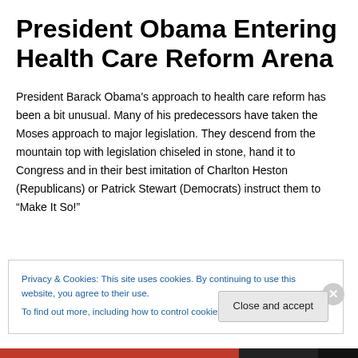President Obama Entering Health Care Reform Arena
President Barack Obama's approach to health care reform has been a bit unusual. Many of his predecessors have taken the Moses approach to major legislation. They descend from the mountain top with legislation chiseled in stone, hand it to Congress and in their best imitation of Charlton Heston (Republicans) or Patrick Stewart (Democrats) instruct them to “Make It So!”
Privacy & Cookies: This site uses cookies. By continuing to use this website, you agree to their use.
To find out more, including how to control cookies, see here: Cookie Policy